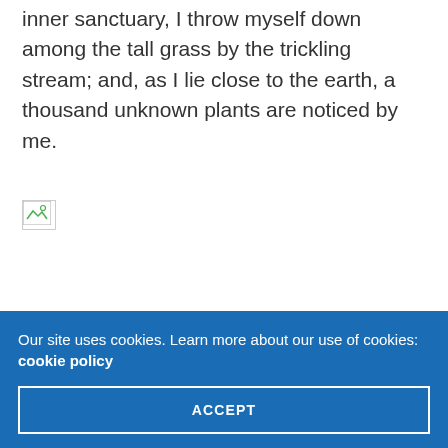inner sanctuary, I throw myself down among the tall grass by the trickling stream; and, as I lie close to the earth, a thousand unknown plants are noticed by me.
[Figure (photo): Broken image placeholder icon in the upper left of the image area]
Our site uses cookies. Learn more about our use of cookies: cookie policy
ACCEPT